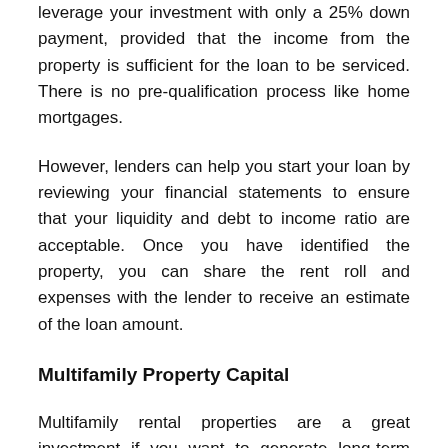leverage your investment with only a 25% down payment, provided that the income from the property is sufficient for the loan to be serviced. There is no pre-qualification process like home mortgages.
However, lenders can help you start your loan by reviewing your financial statements to ensure that your liquidity and debt to income ratio are acceptable. Once you have identified the property, you can share the rent roll and expenses with the lender to receive an estimate of the loan amount.
Multifamily Property Capital
Multifamily rental properties are a great investment if you want to generate long-term income for your family, your children, and future generations. Focusing on the end result will help you achieve your investment goals and generate